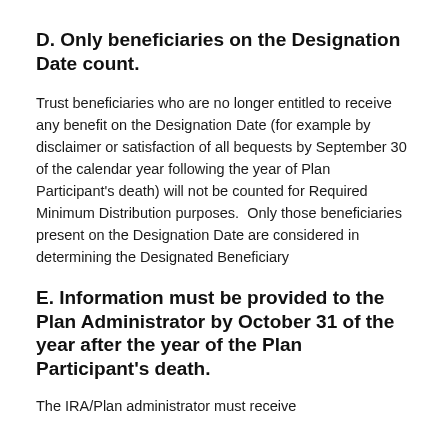D. Only beneficiaries on the Designation Date count.
Trust beneficiaries who are no longer entitled to receive any benefit on the Designation Date (for example by disclaimer or satisfaction of all bequests by September 30 of the calendar year following the year of Plan Participant's death) will not be counted for Required Minimum Distribution purposes.  Only those beneficiaries present on the Designation Date are considered in determining the Designated Beneficiary
E. Information must be provided to the Plan Administrator by October 31 of the year after the year of the Plan Participant's death.
The IRA/Plan administrator must receive